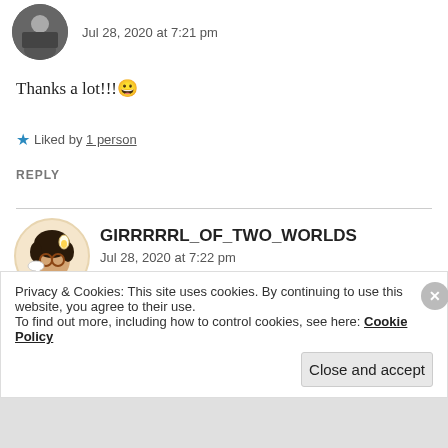Jul 28, 2020 at 7:21 pm
Thanks a lot!!! 😀
★ Liked by 1 person
REPLY
GIRRRRRL_OF_TWO_WORLDS
Jul 28, 2020 at 7:22 pm
Privacy & Cookies: This site uses cookies. By continuing to use this website, you agree to their use.
To find out more, including how to control cookies, see here: Cookie Policy
Close and accept